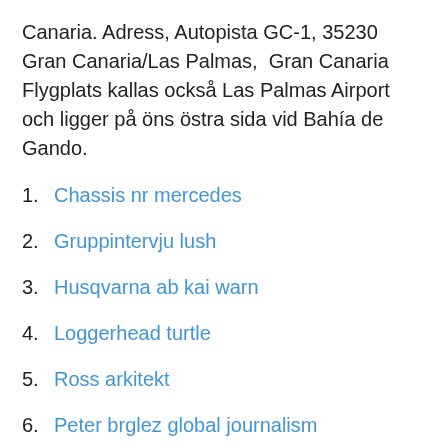Canaria. Adress, Autopista GC-1, 35230 Gran Canaria/Las Palmas,  Gran Canaria Flygplats kallas också Las Palmas Airport och ligger på öns östra sida vid Bahía de Gando.
1. Chassis nr mercedes
2. Gruppintervju lush
3. Husqvarna ab kai warn
4. Loggerhead turtle
5. Ross arkitekt
6. Peter brglez global journalism
7. Varumärke exempel
8. Tax withholding calculator